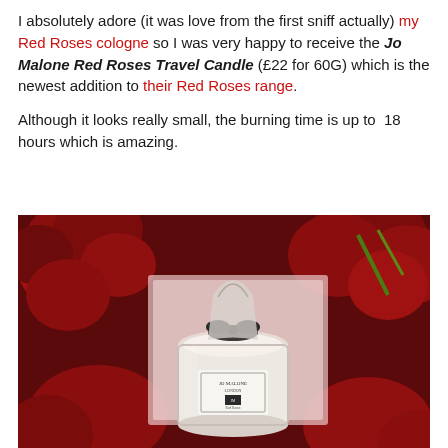I absolutely adore (it was love from the first sniff actually) my Red Roses cologne so I was very happy to receive the Jo Malone Red Roses Travel Candle (£22 for 60G) which is the newest addition to their Red Roses range.

Although it looks really small, the burning time is up to 18 hours which is amazing.
[Figure (photo): Photo of a Jo Malone Red Roses Travel Candle in a small glass jar with a black ribbon bow, surrounded by deep red roses. The candle sits on what appears to be a pink/white box or packaging.]